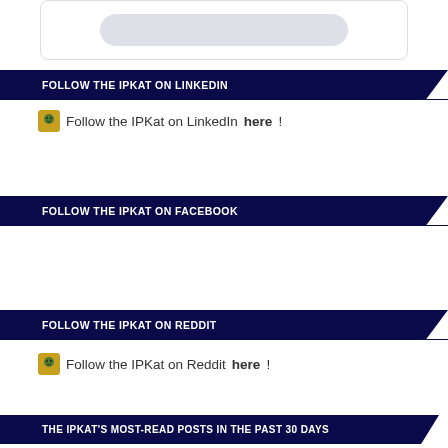[Figure (other): Widget with rounded rectangle placeholder element at top of page]
FOLLOW THE IPKAT ON LINKEDIN
Follow the IPKat on LinkedIn here!
FOLLOW THE IPKAT ON FACEBOOK
FOLLOW THE IPKAT ON REDDIT
Follow the IPKat on Reddit here!
THE IPKAT'S MOST-READ POSTS IN THE PAST 30 DAYS